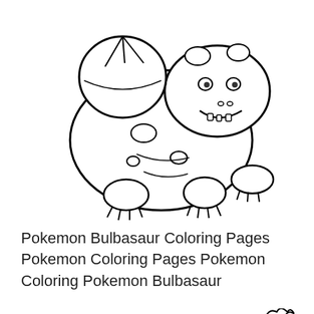[Figure (illustration): Black and white coloring page line drawing of Pokemon Bulbasaur, showing the frog-like creature with a bulb on its back, facing slightly right, with detailed outlines of its body, claws, and facial features.]
Pokemon Bulbasaur Coloring Pages Pokemon Coloring Pages Pokemon Coloring Pokemon Bulbasaur
[Figure (illustration): Black and white coloring page line drawing of a Pokemon (partially visible, appears to be a running or crouching creature with a flame-like tail feature, possibly Charmander or similar) shown from the lower portion of the page, cropped at the bottom.]